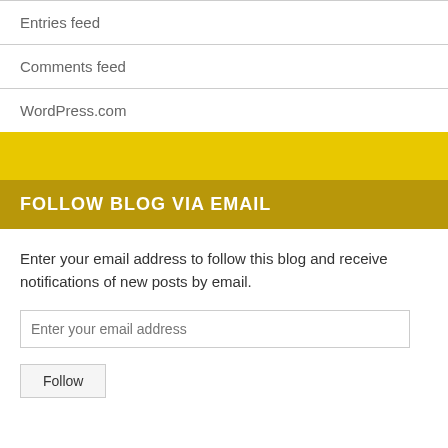Entries feed
Comments feed
WordPress.com
FOLLOW BLOG VIA EMAIL
Enter your email address to follow this blog and receive notifications of new posts by email.
Enter your email address
Follow